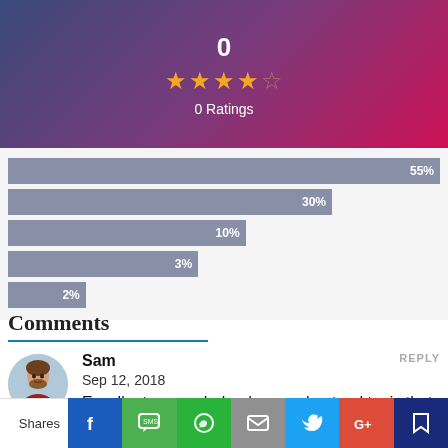[Figure (infographic): Rating banner with score 0, 4-star rating display, and 0 Ratings label on gradient background (blue-purple-pink)]
[Figure (bar-chart): Rating distribution]
Comments
Sam
Sep 12, 2018
Excellent course helped me understand topic that i couldn't while attendinfg my college.
Shares | Facebook | SMS | WhatsApp | Mail | Twitter | Google+ | Bookmark